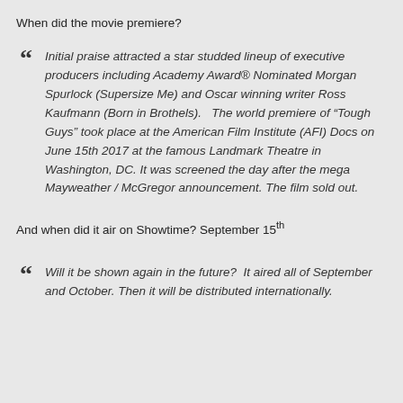When did the movie premiere?
Initial praise attracted a star studded lineup of executive producers including Academy Award® Nominated Morgan Spurlock (Supersize Me) and Oscar winning writer Ross Kaufmann (Born in Brothels).   The world premiere of “Tough Guys” took place at the American Film Institute (AFI) Docs on June 15th 2017 at the famous Landmark Theatre in Washington, DC. It was screened the day after the mega Mayweather / McGregor announcement. The film sold out.
And when did it air on Showtime? September 15th
Will it be shown again in the future?  It aired all of September and October. Then it will be distributed internationally.